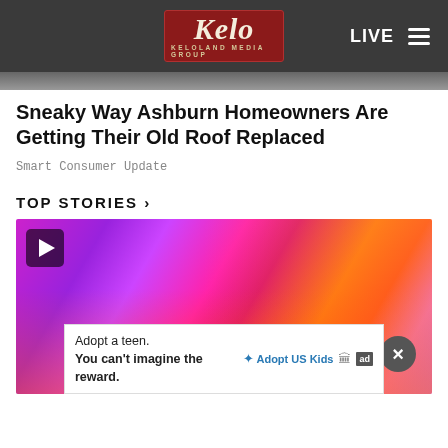KELOLAND Media Group — LIVE
[Figure (screenshot): Partial article thumbnail image strip at top]
Sneaky Way Ashburn Homeowners Are Getting Their Old Roof Replaced
Smart Consumer Update
TOP STORIES ›
[Figure (photo): Video thumbnail showing flashing emergency lights (blue and red/pink) on a police vehicle, blurred motion effect. Play button triangle in top-left corner. Close X button in lower-right.]
Adopt a teen. You can't imagine the reward. — Adopt US Kids [ad]